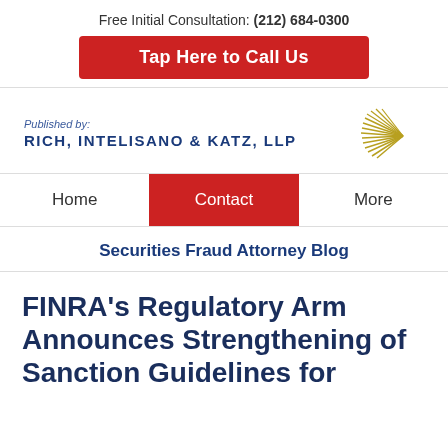Free Initial Consultation: (212) 684-0300
Tap Here to Call Us
Published by: RICH, INTELISANO & KATZ, LLP
Home | Contact | More
Securities Fraud Attorney Blog
FINRA's Regulatory Arm Announces Strengthening of Sanction Guidelines for